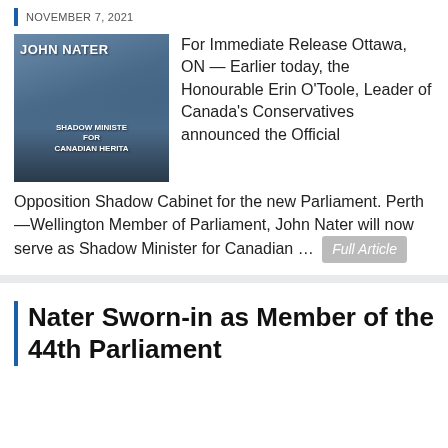NOVEMBER 7, 2021
[Figure (photo): Photo of John Nater with text 'JOHN NATER' and 'SHADOW MINISTER FOR CANADIAN HERITAGE' overlaid on the image]
For Immediate Release Ottawa, ON — Earlier today, the Honourable Erin O'Toole, Leader of Canada's Conservatives announced the Official Opposition Shadow Cabinet for the new Parliament. Perth—Wellington Member of Parliament, John Nater will now serve as Shadow Minister for Canadian ... Full Article
Nater Sworn-in as Member of the 44th Parliament